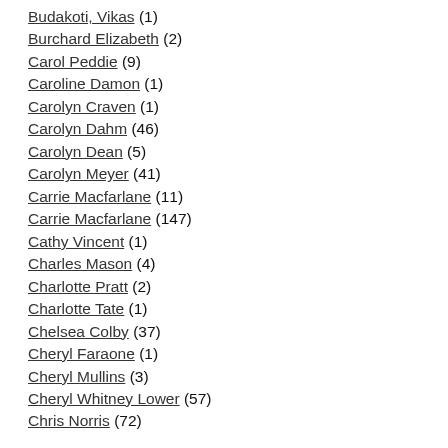Budakoti, Vikas (1)
Burchard Elizabeth (2)
Carol Peddie (9)
Caroline Damon (1)
Carolyn Craven (1)
Carolyn Dahm (46)
Carolyn Dean (5)
Carolyn Meyer (41)
Carrie Macfarlane (11)
Carrie Macfarlane (147)
Cathy Vincent (1)
Charles Mason (4)
Charlotte Pratt (2)
Charlotte Tate (1)
Chelsea Colby (37)
Cheryl Faraone (1)
Cheryl Mullins (3)
Cheryl Whitney Lower (57)
Chris Norris (72)